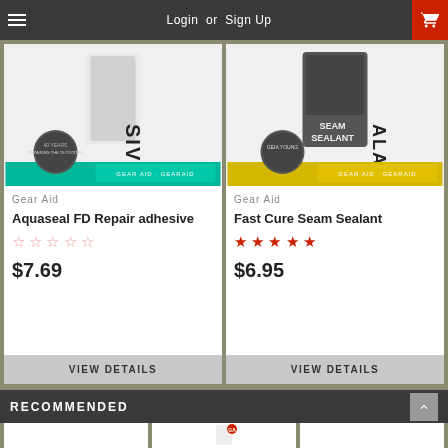Login or Sign Up
[Figure (photo): Aquaseal FD Repair adhesive product image with teal packaging]
Gear Aid
Aquaseal FD Repair adhesive
☆☆☆☆☆ (empty stars)
$7.69
VIEW DETAILS
[Figure (photo): Fast Cure Seam Sealant product image with yellow packaging]
Gear Aid
Fast Cure Seam Sealant
★★★★★ (5 filled red stars)
$6.95
VIEW DETAILS
RECOMMENDED